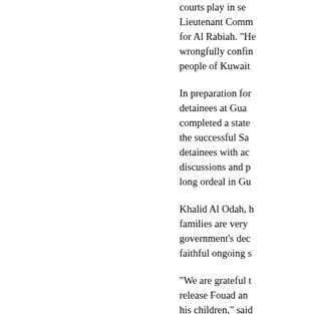courts play in se... Lieutenant Comm... for Al Rabiah. "He... wrongfully confin... people of Kuwait...
In preparation for... detainees at Gua... completed a state... the successful Sa... detainees with ac... discussions and p... long ordeal in Gu...
Khalid Al Odah, h... families are very... government's de... faithful ongoing s...
"We are grateful t... release Fouad an... his children," said... government will s... detained at Guan...
For nearly eight y... Guantanamo and... hearing before an... Administration to... took place on Aug...
Al Rabiah, 50, ha... work. In October...